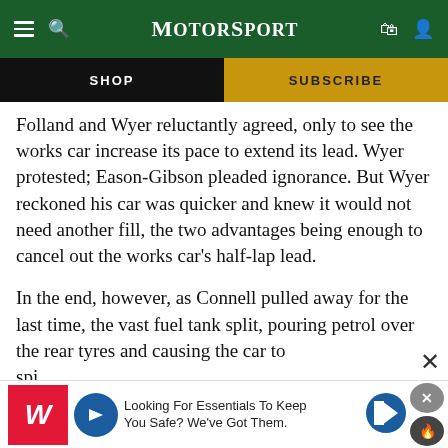MotorSport
SHOP
SUBSCRIBE
Folland and Wyer reluctantly agreed, only to see the works car increase its pace to extend its lead. Wyer protested; Eason-Gibson pleaded ignorance. But Wyer reckoned his car was quicker and knew it would not need another fill, the two advantages being enough to cancel out the works car's half-lap lead.
In the end, however, as Connell pulled away for the last time, the vast fuel tank split, pouring petrol over the rear tyres and causing the car to spi...
[Figure (infographic): Walgreens advertisement banner: 'Looking For Essentials To Keep You Safe? We've Got Them.']